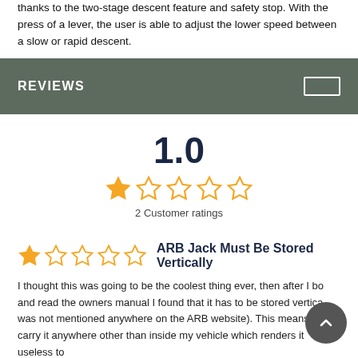thanks to the two-stage descent feature and safety stop. With the press of a lever, the user is able to adjust the lower speed between a slow or rapid descent.
REVIEWS
1.0
2 Customer ratings
ARB Jack Must Be Stored Vertically
I thought this was going to be the coolest thing ever, then after I bo... and read the owners manual I found that it has to be stored vertica... was not mentioned anywhere on the ARB website). This means I can't carry it anywhere other than inside my vehicle which renders it useless to